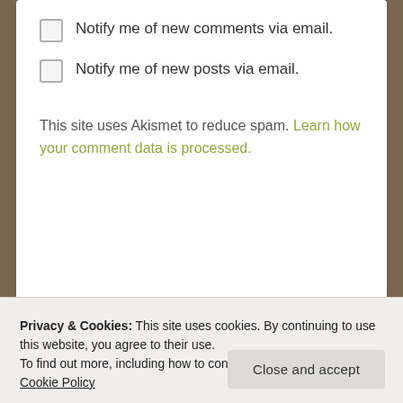Notify me of new comments via email.
Notify me of new posts via email.
This site uses Akismet to reduce spam. Learn how your comment data is processed.
Follow me via email
Privacy & Cookies: This site uses cookies. By continuing to use this website, you agree to their use.
To find out more, including how to control cookies, see here: Cookie Policy
Close and accept